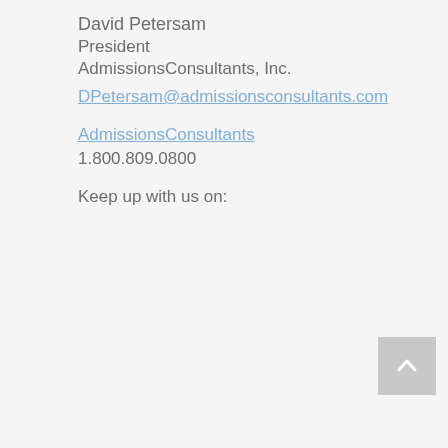David Petersam
President
AdmissionsConsultants, Inc.
DPetersam@admissionsconsultants.com
AdmissionsConsultants
1.800.809.0800
Keep up with us on: